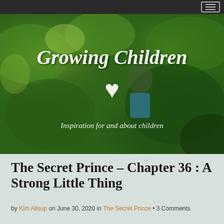Growing Children ♥ – Inspiration for and about children
[Figure (photo): Hero banner image of a child in lush green garden with overlay text 'Growing Children ♥' and tagline 'Inspiration for and about children']
The Secret Prince – Chapter 36 : A Strong Little Thing
by Kim Allsup on June 30, 2020 in The Secret Prince • 3 Comments